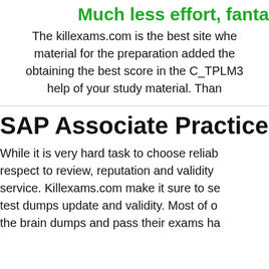Much less effort, fanta...
The killexams.com is the best site whe... material for the preparation added the... obtaining the best score in the C_TPLM3... help of your study material. Than...
SAP Associate Practice T...
While it is very hard task to choose reliab... respect to review, reputation and validity... service. Killexams.com make it sure to se... test dumps update and validity. Most of o... the brain dumps and pass their exams ha...